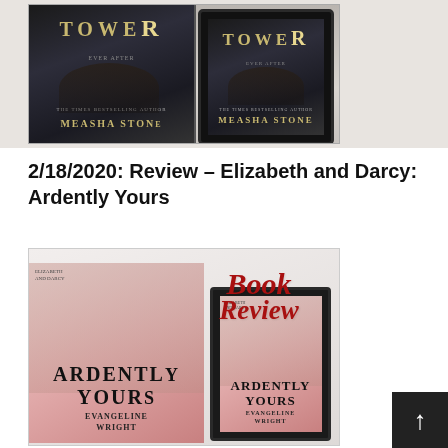[Figure (photo): Two copies of a dark romance book titled 'Tower' by Measha Stone — one physical book and one on a tablet/e-reader, displayed on a white wooden surface.]
2/18/2020: Review – Elizabeth and Darcy: Ardently Yours
[Figure (photo): Book review image showing physical and e-reader versions of 'Elizabeth and Darcy: Ardently Yours' by Evangeline Wright, with cursive red 'Book Review' text overlay on a light background.]